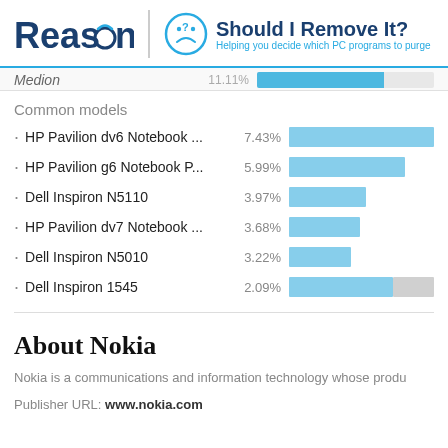[Figure (logo): Reason logo and 'Should I Remove It?' branding header with tagline 'Helping you decide which PC programs to purge']
[Figure (bar-chart): Common models]
About Nokia
Nokia is a communications and information technology whose produ...
Publisher URL: www.nokia.com